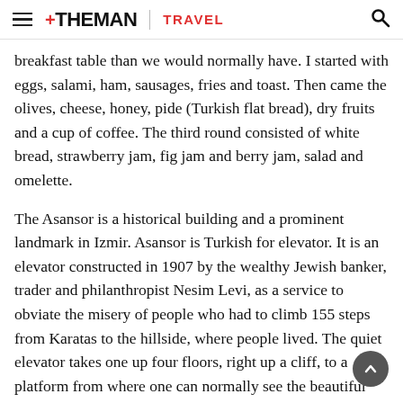THE MAN | TRAVEL
breakfast table than we would normally have. I started with eggs, salami, ham, sausages, fries and toast. Then came the olives, cheese, honey, pide (Turkish flat bread), dry fruits and a cup of coffee. The third round consisted of white bread, strawberry jam, fig jam and berry jam, salad and omelette.
The Asansor is a historical building and a prominent landmark in Izmir. Asansor is Turkish for elevator. It is an elevator constructed in 1907 by the wealthy Jewish banker, trader and philanthropist Nesim Levi, as a service to obviate the misery of people who had to climb 155 steps from Karatas to the hillside, where people lived. The quiet elevator takes one up four floors, right up a cliff, to a platform from where one can normally see the beautiful sights of Izmir and the Gulf of Izmir. However, the inclement weather meant that the views from the observation deck were disappointing. We dropped the plan to go to Mount Kadifekale, which at 190m would have afforded the best views of Izmir and the Gulf of Izmir.